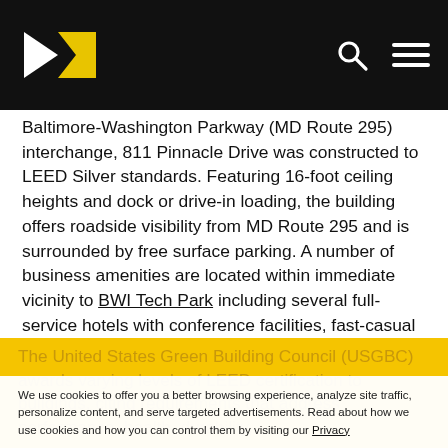Navigation bar with logo and icons
Baltimore-Washington Parkway (MD Route 295) interchange, 811 Pinnacle Drive was constructed to LEED Silver standards. Featuring 16-foot ceiling heights and dock or drive-in loading, the building offers roadside visibility from MD Route 295 and is surrounded by free surface parking. A number of business amenities are located within immediate vicinity to BWI Tech Park including several full-service hotels with conference facilities, fast-casual and sit-down restaurant options and additional service retail. Downtown Baltimore can be accessed in eight miles, Annapolis is just over 20 miles away and Washington, D.C. is approximately 30 miles from the business community.
The United States Green Building Council (USGBC) awards varying levels of LEED certification to buildings, citing requirements that address performance, health, durability
We use cookies to offer you a better browsing experience, analyze site traffic, personalize content, and serve targeted advertisements. Read about how we use cookies and how you can control them by visiting our Privacy